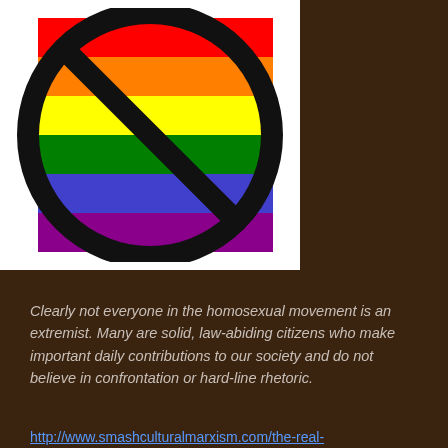[Figure (illustration): A prohibition/no symbol (black circle with diagonal slash) overlaid on a rainbow pride flag with horizontal stripes: red, orange, yellow, green, blue, purple. White background.]
Clearly not everyone in the homosexual movement is an extremist. Many are solid, law-abiding citizens who make important daily contributions to our society and do not believe in confrontation or hard-line rhetoric.
http://www.smashculturalmarxism.com/the-real-